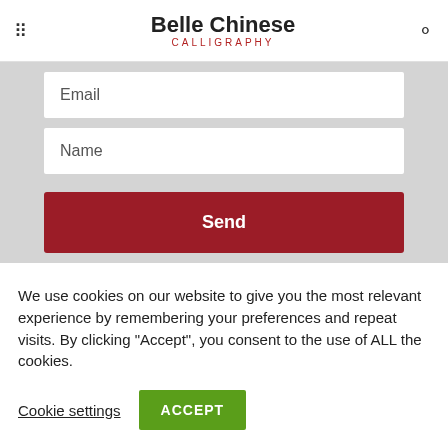Belle Chinese CALLIGRAPHY
Email
Name
Send
We use cookies on our website to give you the most relevant experience by remembering your preferences and repeat visits. By clicking “Accept”, you consent to the use of ALL the cookies.
Cookie settings
ACCEPT